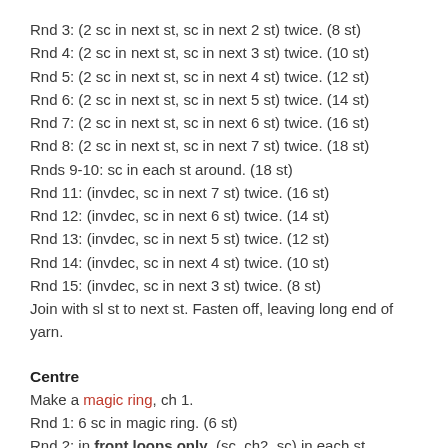Rnd 3: (2 sc in next st, sc in next 2 st) twice. (8 st)
Rnd 4: (2 sc in next st, sc in next 3 st) twice. (10 st)
Rnd 5: (2 sc in next st, sc in next 4 st) twice. (12 st)
Rnd 6: (2 sc in next st, sc in next 5 st) twice. (14 st)
Rnd 7: (2 sc in next st, sc in next 6 st) twice. (16 st)
Rnd 8: (2 sc in next st, sc in next 7 st) twice. (18 st)
Rnds 9-10: sc in each st around. (18 st)
Rnd 11: (invdec, sc in next 7 st) twice. (16 st)
Rnd 12: (invdec, sc in next 6 st) twice. (14 st)
Rnd 13: (invdec, sc in next 5 st) twice. (12 st)
Rnd 14: (invdec, sc in next 4 st) twice. (10 st)
Rnd 15: (invdec, sc in next 3 st) twice. (8 st)
Join with sl st to next st. Fasten off, leaving long end of yarn.
Centre
Make a magic ring, ch 1.
Rnd 1: 6 sc in magic ring. (6 st)
Rnd 2: in front loops only, (sc, ch2, sc) in each st around. (6 loops formed)
Rnd 3: in remaining back loops of Rnd 1, 5 sc in each st around. (30 st)
The stitches of Rnd 3 will want to crinkle up into a loopy ruffle – let them do this! You want them to stick up to form the centre flowers of the poinsettia.